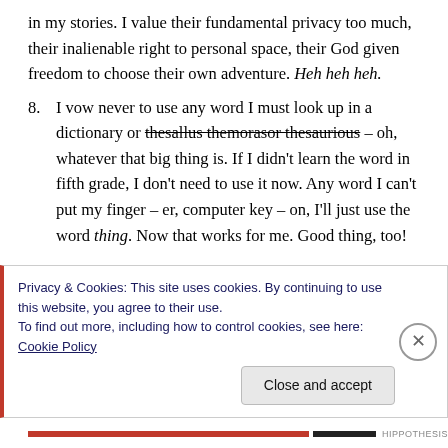in my stories. I value their fundamental privacy too much, their inalienable right to personal space, their God given freedom to choose their own adventure. Heh heh heh.
8. I vow never to use any word I must look up in a dictionary or thesallus themorasor thesaurious — oh, whatever that big thing is. If I didn't learn the word in fifth grade, I don't need to use it now. Any word I can't put my finger – er, computer key – on, I'll just use the word thing. Now that works for me. Good thing, too!
Privacy & Cookies: This site uses cookies. By continuing to use this website, you agree to their use.
To find out more, including how to control cookies, see here: Cookie Policy